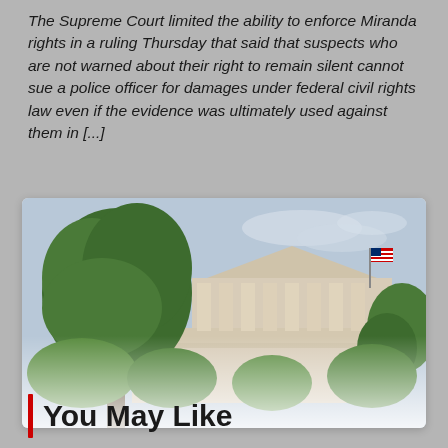The Supreme Court limited the ability to enforce Miranda rights in a ruling Thursday that said that suspects who are not warned about their right to remain silent cannot sue a police officer for damages under federal civil rights law even if the evidence was ultimately used against them in [...]
[Figure (photo): Photograph of the United States Supreme Court building with a large tree in the foreground and an American flag visible. The image fades at the bottom.]
You May Like